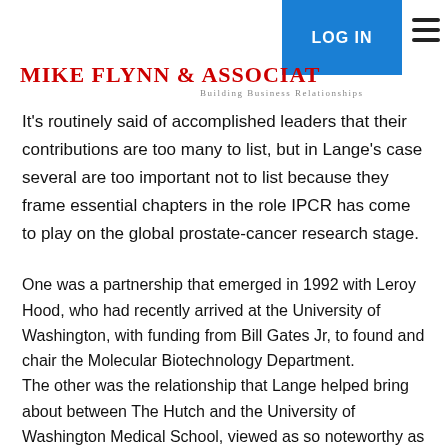MIKE FLYNN & ASSOCIATES — Building Business Relationships — LOG IN
It's routinely said of accomplished leaders that their contributions are too many to list, but in Lange's case several are too important not to list because they frame essential chapters in the role IPCR has come to play on the global prostate-cancer research stage.
One was a partnership that emerged in 1992 with Leroy Hood, who had recently arrived at the University of Washington, with funding from Bill Gates Jr, to found and chair the Molecular Biotechnology Department. The other was the relationship that Lange helped bring about between The Hutch and the University of Washington Medical School, viewed as so noteworthy as to be almost unique. Hood, already internationally prominent as developer of the automated DNA sequencer that was a key to